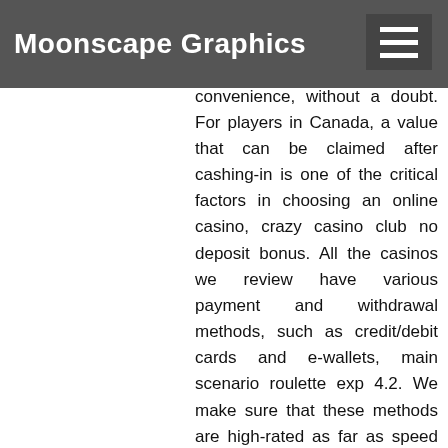Moonscape Graphics
minimum deposit online casino with a $20 threshold provides the most flexibility and convenience, without a doubt. For players in Canada, a value that can be claimed after cashing-in is one of the critical factors in choosing an online casino, crazy casino club no deposit bonus. All the casinos we review have various payment and withdrawal methods, such as credit/debit cards and e-wallets, main scenario roulette exp 4.2. We make sure that these methods are high-rated as far as speed and security are concerned. No-deposit bonuses are especially intriguing because you dont't need to make a real-money deposit to receive this reward. All you must do to claim it is create an account, casino baden baden kleidung damen. Connect with a customer care agent and request information about the latest bonus deals, hollywood casino marquee rewards sign in. Using Betsoft No Deposit Bonus Codes. But you got to win without risking